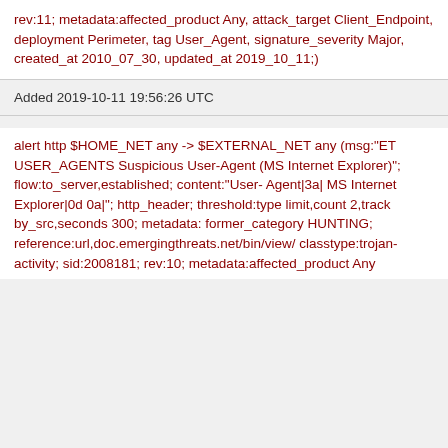rev:11; metadata:affected_product Any, attack_target Client_Endpoint, deployment Perimeter, tag User_Agent, signature_severity Major, created_at 2010_07_30, updated_at 2019_10_11;)
Added 2019-10-11 19:56:26 UTC
alert http $HOME_NET any -> $EXTERNAL_NET any (msg:"ET USER_AGENTS Suspicious User-Agent (MS Internet Explorer)"; flow:to_server,established; content:"User-Agent|3a| MS Internet Explorer|0d 0a|"; http_header; threshold:type limit,count 2,track by_src,seconds 300; metadata:former_category HUNTING; reference:url,doc.emergingthreats.net/bin/view/ classtype:trojan-activity; sid:2008181; rev:10; metadata:affected_product Any